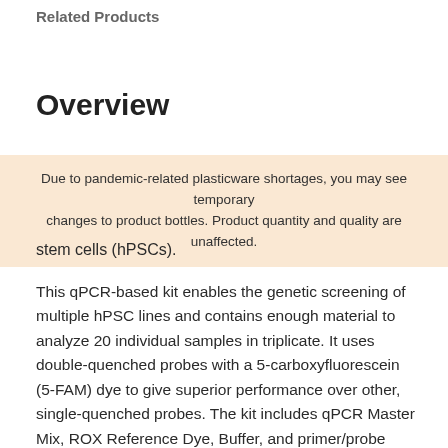Related Products
Overview
Due to pandemic-related plasticware shortages, you may see temporary changes to product bottles. Product quantity and quality are unaffected.
stem cells (hPSCs).
This qPCR-based kit enables the genetic screening of multiple hPSC lines and contains enough material to analyze 20 individual samples in triplicate. It uses double-quenched probes with a 5-carboxyfluorescein (5-FAM) dye to give superior performance over other, single-quenched probes. The kit includes qPCR Master Mix, ROX Reference Dye, Buffer, and primer/probe mixes designed to detect the critical minimal regions of the 8